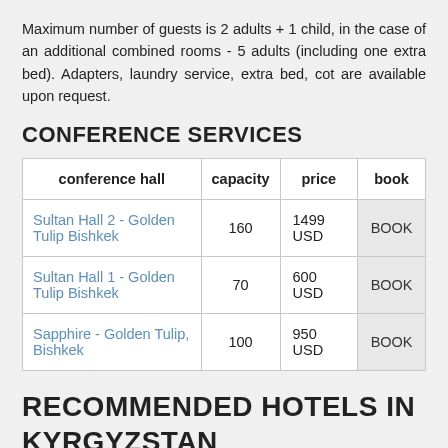Maximum number of guests is 2 adults + 1 child, in the case of an additional combined rooms - 5 adults (including one extra bed). Adapters, laundry service, extra bed, cot are available upon request.
CONFERENCE SERVICES
| conference hall | capacity | price | book |
| --- | --- | --- | --- |
| Sultan Hall 2 - Golden Tulip Bishkek | 160 | 1499 USD | BOOK |
| Sultan Hall 1 - Golden Tulip Bishkek | 70 | 600 USD | BOOK |
| Sapphire - Golden Tulip, Bishkek | 100 | 950 USD | BOOK |
RECOMMENDED HOTELS IN KYRGYZSTAN